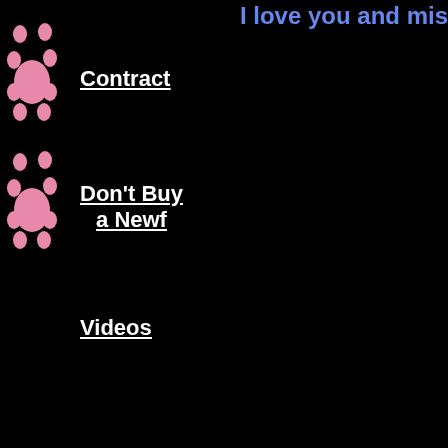I love you and mis...
Contract
Don't Buy a Newf
Videos